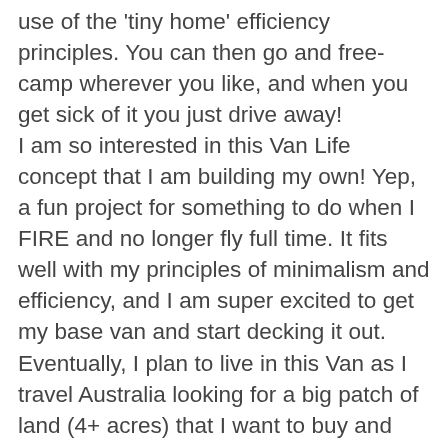use of the 'tiny home' efficiency principles. You can then go and free-camp wherever you like, and when you get sick of it you just drive away! I am so interested in this Van Life concept that I am building my own! Yep, a fun project for something to do when I FIRE and no longer fly full time. It fits well with my principles of minimalism and efficiency, and I am super excited to get my base van and start decking it out. Eventually, I plan to live in this Van as I travel Australia looking for a big patch of land (4+ acres) that I want to buy and then set up my permaculture farm. Lots of study, research and planning will have to happen before I buy a van, but its looking like I will get a second hand extended wheel base Mercedes Sprinter or similar, and then design and install all the cabinetry, wiring and plumbing myself. If this is something you think is interesting, then standby because I will be